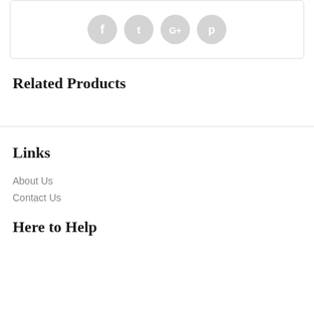[Figure (other): Social media icons: Facebook, Twitter, Google+, Pinterest — circular grey icons in a row]
Related Products
Links
About Us
Contact Us
Here to Help